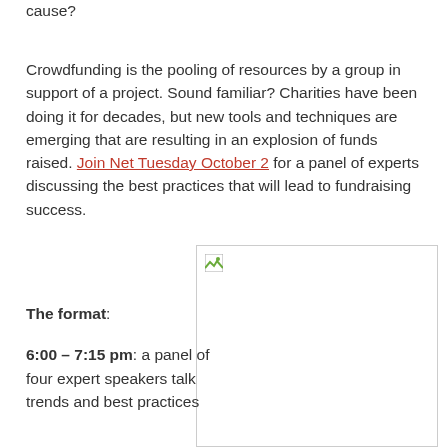cause?
Crowdfunding is the pooling of resources by a group in support of a project. Sound familiar? Charities have been doing it for decades, but new tools and techniques are emerging that are resulting in an explosion of funds raised. Join Net Tuesday October 2 for a panel of experts discussing the best practices that will lead to fundraising success.
[Figure (other): Broken/missing image placeholder with small icon in top-left corner]
The format:
6:00 – 7:15 pm: a panel of four expert speakers talk trends and best practices